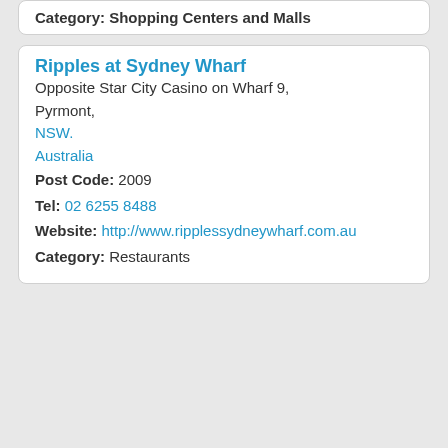Category: Shopping Centers and Malls
Ripples at Sydney Wharf
Opposite Star City Casino on Wharf 9, Pyrmont,
NSW.
Australia
Post Code: 2009
Tel: 02 6255 8488
Website: http://www.ripplessydneywharf.com.au
Category: Restaurants